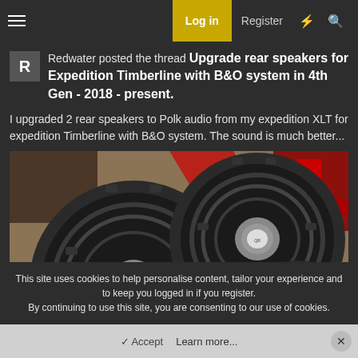Log in | Register
Redwater posted the thread Upgrade rear speakers for Expedition Timberline with B&O system in 4th Gen - 2018 - present.
I upgraded 2 rear speakers to Polk audio from my expedition XLT for expedition Timberline with B&O system. The sound is much better...
[Figure (photo): Photo showing two round car speakers (Polk audio) laid out on cardboard, with red plastic tools visible in the background.]
This site uses cookies to help personalise content, tailor your experience and to keep you logged in if you register.
By continuing to use this site, you are consenting to our use of cookies.
✓ Accept    Learn more...